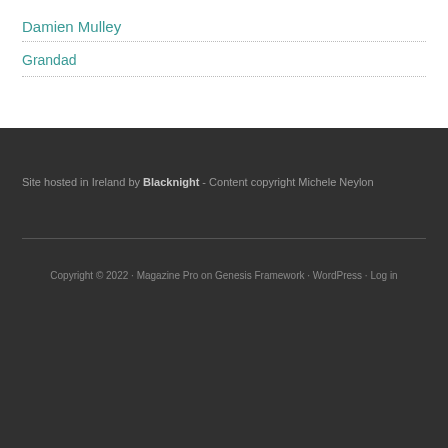Damien Mulley
Grandad
Site hosted in Ireland by Blacknight - Content copyright Michele Neylon
Copyright © 2022 · Magazine Pro on Genesis Framework · WordPress · Log in